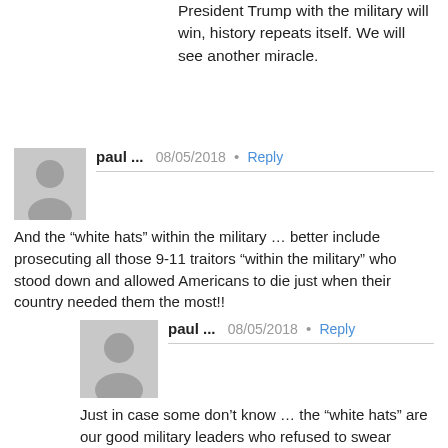President Trump with the military will win, history repeats itself. We will see another miracle.
paul ... 08/05/2018 • Reply
And the “white hats” within the military … better include prosecuting all those 9-11 traitors “within the military” who stood down and allowed Americans to die just when their country needed them the most!!
paul ... 08/05/2018 • Reply
Just in case some don’t know … the “white hats” are our good military leaders who refused to swear allegiance to Obama to kill American citizens on his orders … now what is this I hear from Doc Janda? … Obama is now